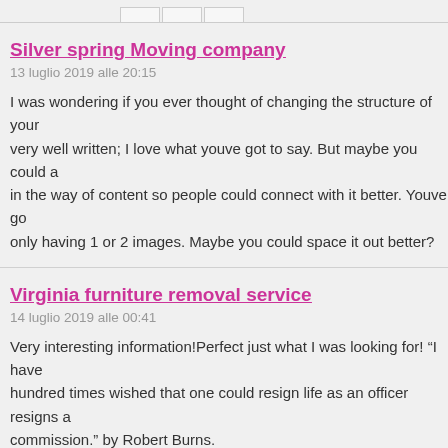Silver spring Moving company
13 luglio 2019 alle 20:15
I was wondering if you ever thought of changing the structure of your very well written; I love what youve got to say. But maybe you could a in the way of content so people could connect with it better. Youve go only having 1 or 2 images. Maybe you could space it out better?
Virginia furniture removal service
14 luglio 2019 alle 00:41
Very interesting information!Perfect just what I was looking for! “I have hundred times wished that one could resign life as an officer resigns a commission.” by Robert Burns.
w88vn
14 luglio 2019 alle 02:19
Nice post. I learn something tougher on totally different blogs everyda all times be stimulating to learn content from different writers and pra bit something from their store. I’d choose to make use of some with